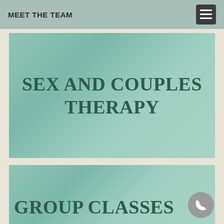MEET THE TEAM
SEX AND COUPLES THERAPY
GROUP CLASSES